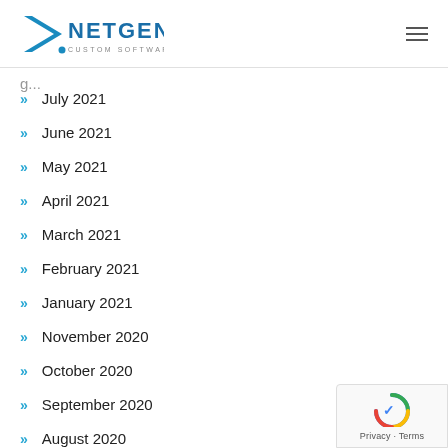NETGEN Custom Software Development
» July 2021
» June 2021
» May 2021
» April 2021
» March 2021
» February 2021
» January 2021
» November 2020
» October 2020
» September 2020
» August 2020